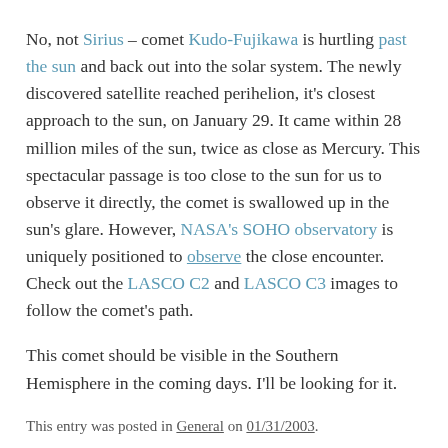No, not Sirius – comet Kudo-Fujikawa is hurtling past the sun and back out into the solar system. The newly discovered satellite reached perihelion, it's closest approach to the sun, on January 29. It came within 28 million miles of the sun, twice as close as Mercury. This spectacular passage is too close to the sun for us to observe it directly, the comet is swallowed up in the sun's glare. However, NASA's SOHO observatory is uniquely positioned to observe the close encounter. Check out the LASCO C2 and LASCO C3 images to follow the comet's path.
This comet should be visible in the Southern Hemisphere in the coming days. I'll be looking for it.
This entry was posted in General on 01/31/2003.